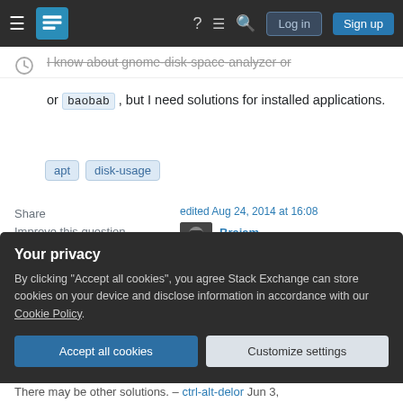Stack Exchange navigation bar with Log in and Sign up buttons
I know about gnome-disk-space-analyzer or baobab , but I need solutions for installed applications.
apt  disk-usage
Share  Improve this question  Follow
edited Aug 24, 2014 at 16:08  Braiam  34.3k  25  105  163
asked Jun 10, 2012 at 16:43  Mirzhan Irkegulov
Your privacy
By clicking "Accept all cookies", you agree Stack Exchange can store cookies on your device and disclose information in accordance with our Cookie Policy.
Accept all cookies  Customize settings
There may be other solutions. – ctrl-alt-delor Jun 3,